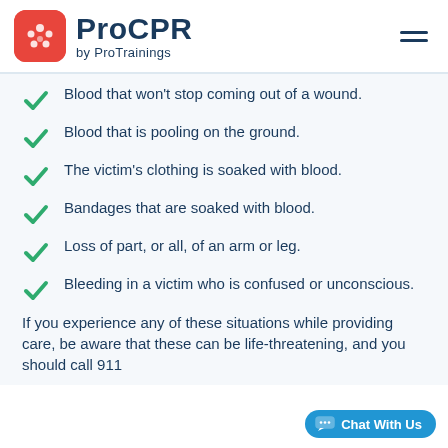ProCPR by ProTrainings
Blood that won't stop coming out of a wound.
Blood that is pooling on the ground.
The victim's clothing is soaked with blood.
Bandages that are soaked with blood.
Loss of part, or all, of an arm or leg.
Bleeding in a victim who is confused or unconscious.
If you experience any of these situations while providing care, be aware that these can be life-threatening, and you should call 911